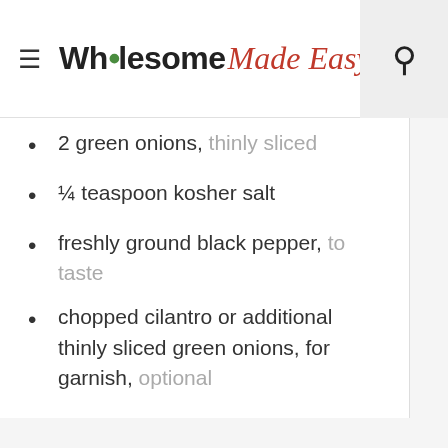Wholesome Made Easy
2 green onions, thinly sliced
¼ teaspoon kosher salt
freshly ground black pepper, to taste
chopped cilantro or additional thinly sliced green onions, for garnish, optional